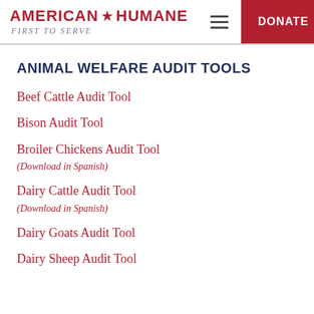AMERICAN HUMANE FIRST TO SERVE
ANIMAL WELFARE AUDIT TOOLS
Beef Cattle Audit Tool
Bison Audit Tool
Broiler Chickens Audit Tool
(Download in Spanish)
Dairy Cattle Audit Tool
(Download in Spanish)
Dairy Goats Audit Tool
Dairy Sheep Audit Tool